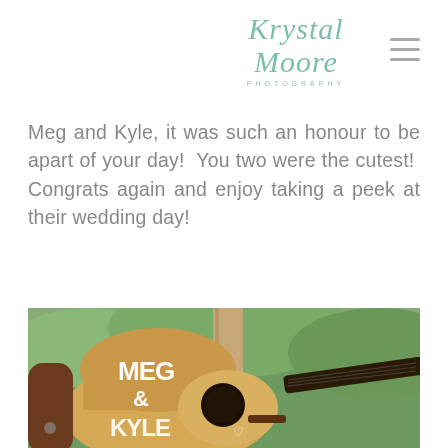Krystal Moore Photography
Meg and Kyle, it was such an honour to be apart of your day!  You two were the cutest!  Congrats again and enjoy taking a peek at their wedding day!
[Figure (photo): Acoustic guitar with 'Meg & Kyle' painted in white letters on the body, leaning against a wooden post outdoors with green foliage in the background.]